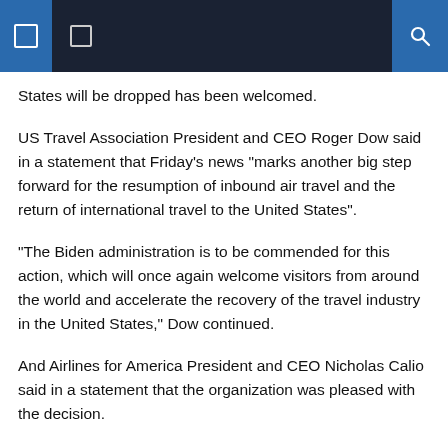[Navigation header with menu icons and search]
States will be dropped has been welcomed.
US Travel Association President and CEO Roger Dow said in a statement that Friday's news “marks another big step forward for the resumption of inbound air travel and the return of international travel to the United States”.
“The Biden administration is to be commended for this action, which will once again welcome visitors from around the world and accelerate the recovery of the travel industry in the United States,” Dow continued.
And Airlines for America President and CEO Nicholas Calio said in a statement that the organization was pleased with the decision.
I caught COVID while traveling: Here’s what I wish I’d known